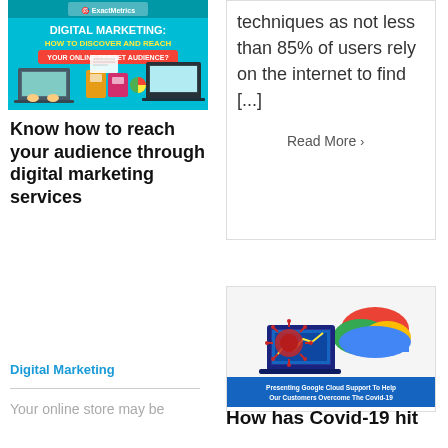[Figure (illustration): Digital Marketing: How to Discover and Reach Your Online Target Audience? - colorful promotional image with laptops and hands]
Know how to reach your audience through digital marketing services
Digital Marketing
Your online store may be
techniques as not less than 85% of users rely on the internet to find [...]
Read More ›
[Figure (illustration): Presenting Google Cloud Support To Help Our Customers Overcome The Covid-19 - image showing virus and Google Cloud logo with laptop]
How has Covid-19 hit